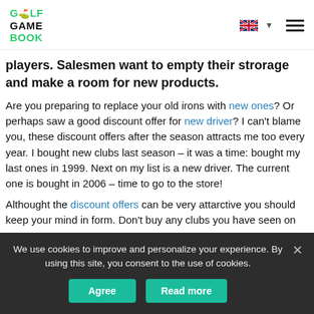GOLF GAME BOOK
players. Salesmen want to empty their strorage and make a room for new products.
Are you preparing to replace your old irons with new ones? Or perhaps saw a good discount offer for new driver? I can't blame you, these discount offers after the season attracts me too every year. I bought new clubs last season – it was a time: bought my last ones in 1999. Next on my list is a new driver. The current one is bought in 2006 – time to go to the store!
Althought the discount offers can be very attarctive you should keep your mind in form. Don't buy any clubs you have seen on
We use cookies to improve and personalize your experience. By using this site, you consent to the use of cookies.